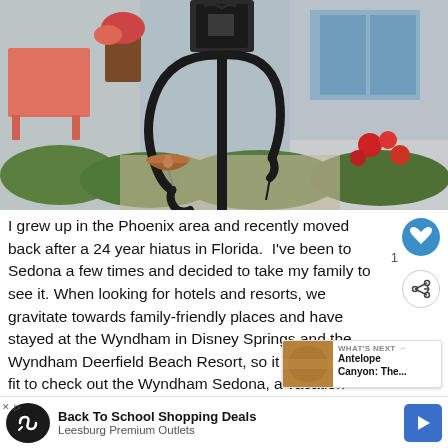[Figure (photo): Outdoor garden scene with a black metal shepherds hook plant stand in the center foreground. A copper bird bath hangs from the left arm. Red/pink bench visible on the left, flowers and greenery in the background, building entrance visible on right.]
I grew up in the Phoenix area and recently moved back after a 24 year hiatus in Florida. I've been to Sedona a few times and decided to take my family to see it. When looking for hotels and resorts, we gravitate towards family-friendly places and have stayed at the Wyndham in Disney Springs and the Wyndham Deerfield Beach Resort, so it was a natural fit to check out the Wyndham Sedona, a vacation resort rental. So, we decided to do a review for Club Wyndham Sedona, the most ... easy. There are c ... llities
[Figure (screenshot): Back To School Shopping Deals advertisement banner - Leesburg Premium Outlets with logo and navigation arrow]
[Figure (screenshot): WHAT'S NEXT panel showing Antelope Canyon: The... with thumbnail image]